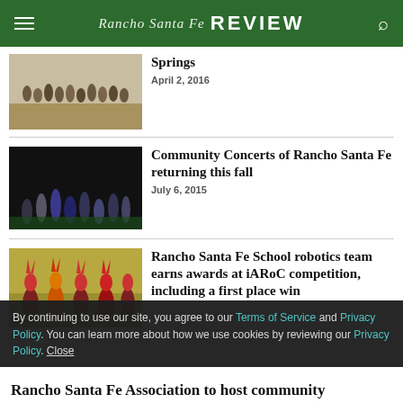Rancho Santa Fe Review
[Figure (photo): Group of people standing outdoors in desert/scrub landscape]
Springs
April 2, 2016
[Figure (photo): Group of musicians and performers on stage with dark background]
Community Concerts of Rancho Santa Fe returning this fall
July 6, 2015
[Figure (photo): Children in costumes with horned headpieces, robotics competition]
Rancho Santa Fe School robotics team earns awards at iARoC competition, including a first place win
By continuing to use our site, you agree to our Terms of Service and Privacy Policy. You can learn more about how we use cookies by reviewing our Privacy Policy. Close
Rancho Santa Fe Association to host community